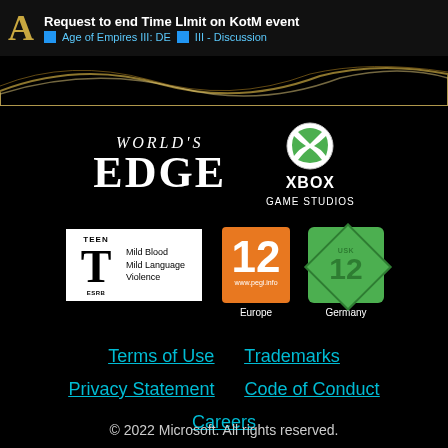Request to end Time LImit on KotM event — Age of Empires III: DE | III - Discussion
[Figure (logo): World's Edge logo — stylized serif text]
[Figure (logo): Xbox Game Studios logo — white Xbox sphere icon above XBOX GAME STUDIOS text]
[Figure (logo): ESRB Teen rating: Mild Blood, Mild Language, Violence]
[Figure (logo): PEGI 12 Europe rating badge (orange)]
[Figure (logo): USK 12 Germany rating badge (green diamond)]
Terms of Use   Trademarks
Privacy Statement   Code of Conduct
Careers
© 2022 Microsoft. All rights reserved.